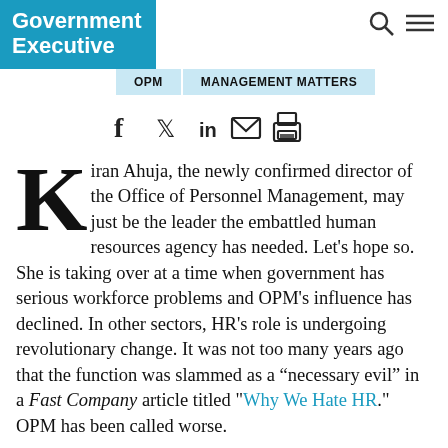Government Executive
[Figure (logo): Government Executive logo - white text on blue background]
OPM   MANAGEMENT MATTERS
[Figure (infographic): Social sharing icons: Facebook, Twitter, LinkedIn, Email, Print]
Kiran Ahuja, the newly confirmed director of the Office of Personnel Management, may just be the leader the embattled human resources agency has needed. Let's hope so. She is taking over at a time when government has serious workforce problems and OPM's influence has declined. In other sectors, HR's role is undergoing revolutionary change. It was not too many years ago that the function was slammed as a “necessary evil” in a Fast Company article titled "Why We Hate HR." OPM has been called worse.
In the private sector, the transformation is discussed in a